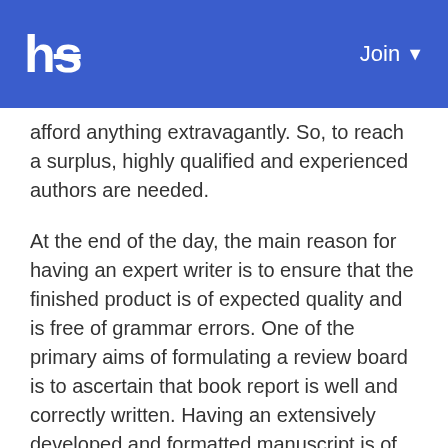hs  Join
afford anything extravagantly. So, to reach a surplus, highly qualified and experienced authors are needed.
At the end of the day, the main reason for having an expert writer is to ensure that the finished product is of expected quality and is free of grammar errors. One of the primary aims of formulating a review board is to ascertain that book report is well and correctly written. Having an extensively developed and formatted manuscript is of great importance since it shows the researched material, its simple understandable, and it is easy to read.
When drafting the final copy, the author has to